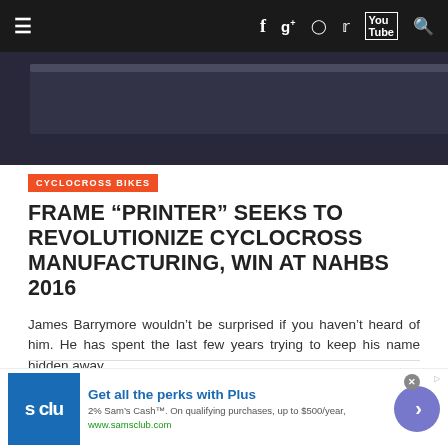Navigation bar with hamburger menu, social icons (Facebook, Google+, Instagram, Twitter, YouTube, Search)
[Figure (photo): Partial view of a 3D printer or manufacturing machine, dark colored, with a warning label sticker visible]
CYCLOCROSS BIKES
FRAME “PRINTER” SEEKS TO REVOLUTIONIZE CYCLOCROSS MANUFACTURING, WIN AT NAHBS 2016
James Barrymore wouldn’t be surprised if you haven’t heard of him. He has spent the last few years trying to keep his name hidden away …
Read more ›
1 Comment
[Figure (photo): Partial view of a second article image, dark/black and white photo, people visible]
[Figure (other): Advertisement banner: Sam's Club - Get all the perks with Plus. 2% Sam's Cash. On qualifying purchases, up to $500/year. www.samsclub.com]